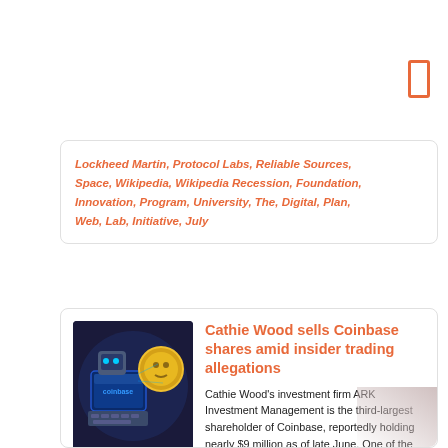[Figure (other): Orange bookmark/rectangle icon in top right corner]
Lockheed Martin, Protocol Labs, Reliable Sources, Space, Wikipedia, Wikipedia Recession, Foundation, Innovation, Program, University, The, Digital, Plan, Web, Lab, Initiative, July
Cathie Wood sells Coinbase shares amid insider trading allegations
[Figure (illustration): Illustrated artwork showing a robot or armored character at a computer with Coinbase branding and a golden coin character, dark blue/purple background]
Cathie Wood's investment firm ARK Investment Management is the third-largest shareholder of Coinbase, reportedly holding nearly $9 million as of late June. One of the largest stockholders of the Coinbase cryptocurrency exchange has dumped a massive amount of shares as regulators reportedly probe the firm for alleged insider trading.Cathie Wood's investment firm Ark Investment Management has sold a total of more than 1.4 million Coinbase (COIN) shares, according to daily trade information from Ark on July 26.The sale involved three Ark